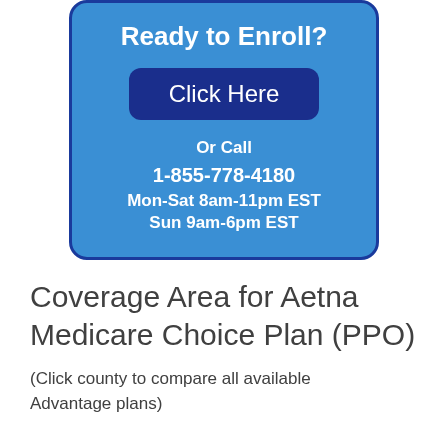Ready to Enroll?
Click Here
Or Call
1-855-778-4180
Mon-Sat 8am-11pm EST
Sun 9am-6pm EST
Coverage Area for Aetna Medicare Choice Plan (PPO)
(Click county to compare all available Advantage plans)